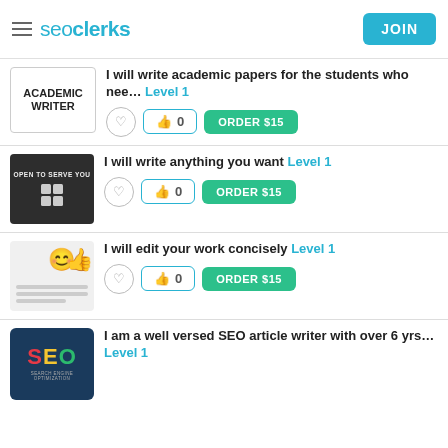seoclerks — JOIN
I will write academic papers for the students who nee... Level 1 — ORDER $15
I will write anything you want Level 1 — ORDER $15
I will edit your work concisely Level 1 — ORDER $15
I am a well versed SEO article writer with over 6 yrs... Level 1